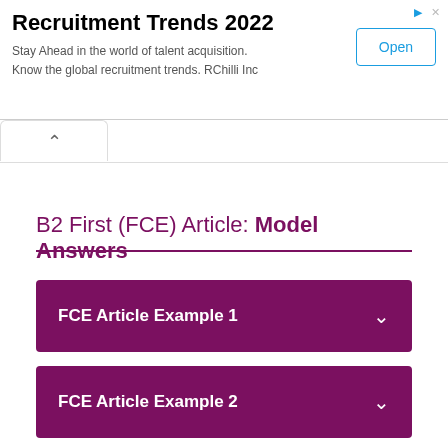[Figure (screenshot): Advertisement banner for Recruitment Trends 2022 by RChilli Inc with an Open button]
Recruitment Trends 2022
Stay Ahead in the world of talent acquisition. Know the global recruitment trends. RChilli Inc
B2 First (FCE) Article: Model Answers
FCE Article Example 1
FCE Article Example 2